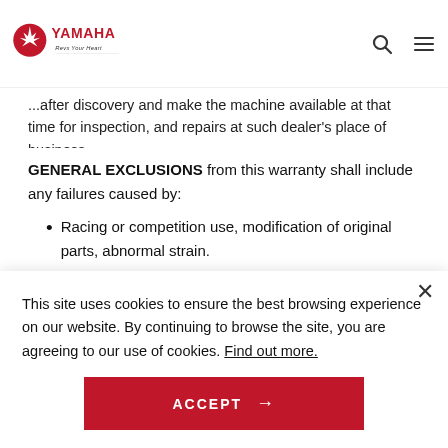YAMAHA Revs Your Heart — navigation bar with search and menu icons
...after discovery and make the machine available at that time for inspection, and repairs at such dealer's place of business.
GENERAL EXCLUSIONS from this warranty shall include any failures caused by:
Racing or competition use, modification of original parts, abnormal strain.
This site uses cookies to ensure the best browsing experience on our website. By continuing to browse the site, you are agreeing to our use of cookies. Find out more.
ACCEPT →